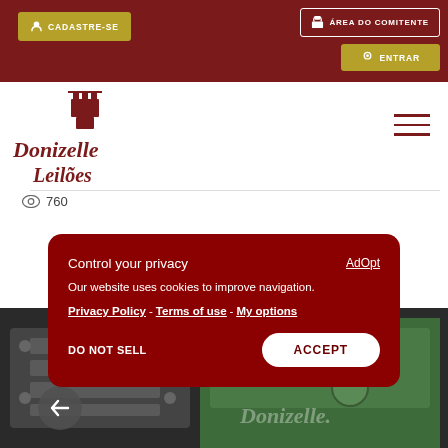CADASTRE-SE | ÁREA DO COMITENTE | ENTRAR
[Figure (logo): Donizelle Leilões logo in dark red cursive script with castle tower icon]
760
Control your privacy
Our website uses cookies to improve navigation.
Privacy Policy - Terms of use - My options
DO NOT SELL   ACCEPT
[Figure (photo): Industrial machinery photo, green equipment and metal rollers, with Donizelle Leilões watermark]